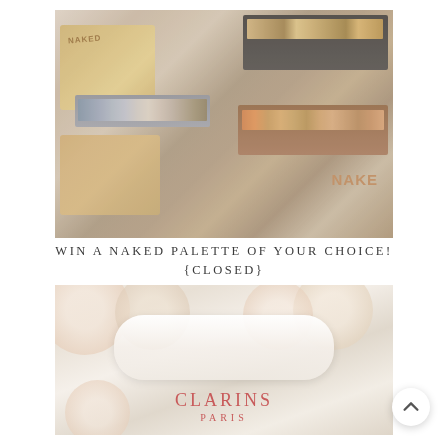[Figure (photo): Flatlay photo of multiple Urban Decay Naked eyeshadow palettes (Naked, Naked 2, Naked on the Run) arranged on a white surface showing various browns, taupes, and grey-blue eyeshadow pans]
WIN A NAKED PALETTE OF YOUR CHOICE! {CLOSED}
IN BEAUTY
[Figure (photo): Close-up photo of a white Clarins Paris product (cream or moisturizer jar) surrounded by white/cream roses]